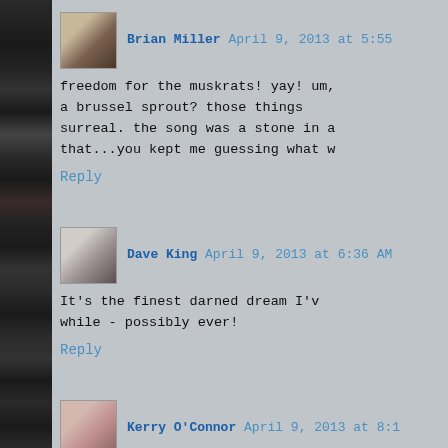[Figure (photo): Dark sidebar with skull/horror themed images on left side]
Brian Miller April 9, 2013 at 5:55
freedom for the muskrats! yay! um, a brussel sprout? those things surreal. the song was a stone in a that...you kept me guessing what w
Reply
Dave King April 9, 2013 at 6:36 AM
It's the finest darned dream I've while - possibly ever!
Reply
Kerry O'Connor April 9, 2013 at 8:1